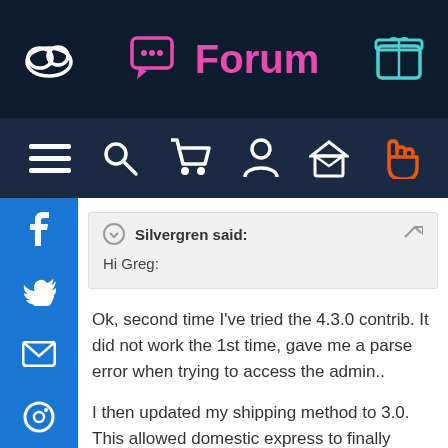Forum
Silvergren said:
Hi Greg:
Ok, second time I've tried the 4.3.0 contrib. It did not work the 1st time, gave me a parse error when trying to access the admin..
I then updated my shipping method to 3.0. This allowed domestic express to finally work. 1st class international still refuses to show up for the customer even though I have it selected in the shipping mod.